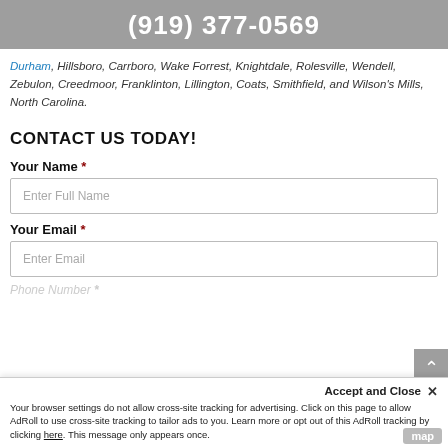(919) 377-0569
Durham, Hillsboro, Carrboro, Wake Forrest, Knightdale, Rolesville, Wendell, Zebulon, Creedmoor, Franklinton, Lillington, Coats, Smithfield, and Wilson's Mills, North Carolina.
CONTACT US TODAY!
Your Name *
Enter Full Name
Your Email *
Enter Email
Phone Number *
Accept and Close ✕
Your browser settings do not allow cross-site tracking for advertising. Click on this page to allow AdRoll to use cross-site tracking to tailor ads to you. Learn more or opt out of this AdRoll tracking by clicking here. This message only appears once.